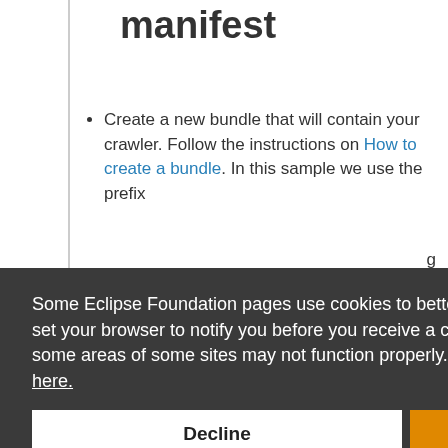manifest
Create a new bundle that will contain your crawler. Follow the instructions on How to create a bundle. In this sample we use the prefix
Some Eclipse Foundation pages use cookies to better serve you when you return to the site. You can set your browser to notify you before you receive a cookie or turn off cookies. If you do so, however, some areas of some sites may not function properly. To read Eclipse Foundation Privacy Policy click here.
crawler with business logic !